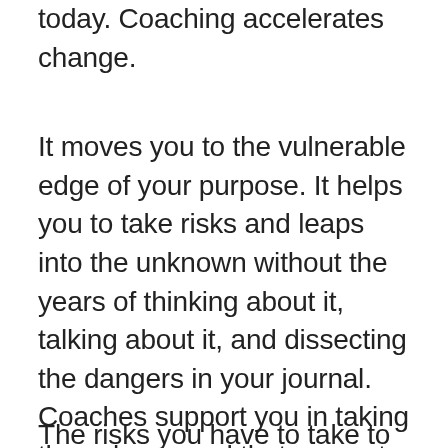today. Coaching accelerates change.
It moves you to the vulnerable edge of your purpose. It helps you to take risks and leaps into the unknown without the years of thinking about it, talking about it, and dissecting the dangers in your journal. Coaches support you in taking those leaps and that support gets you to your goals faster.
The risks you have to take to live